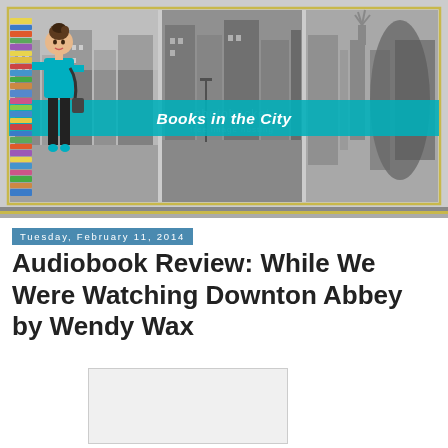[Figure (illustration): Blog header banner for 'Books in the City' showing a cartoon woman leaning on a stack of books, with three black-and-white city photo panels behind her, a teal diagonal banner reading 'Books in the City', and a gold/yellow border. Photobucket watermark visible.]
Tuesday, February 11, 2014
Audiobook Review: While We Were Watching Downton Abbey by Wendy Wax
[Figure (photo): Book cover placeholder image (white/light grey rectangle)]